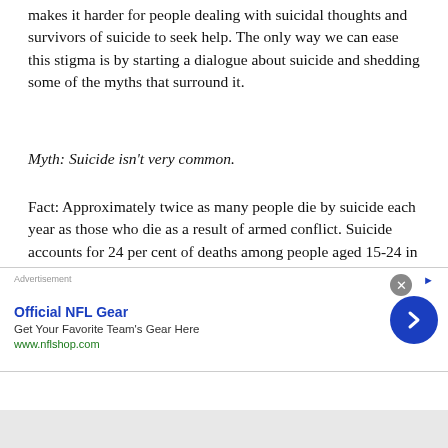makes it harder for people dealing with suicidal thoughts and survivors of suicide to seek help. The only way we can ease this stigma is by starting a dialogue about suicide and shedding some of the myths that surround it.
Myth: Suicide isn't very common.
Fact: Approximately twice as many people die by suicide each year as those who die as a result of armed conflict. Suicide accounts for 24 per cent of deaths among people aged 15-24 in Canada. In the last ten years, more young men in Ontario have died by suicide than have died in car accidents. And for each of these deaths, dozens of friends and family members are affected. If your life hasn't been touched by suicide, chances ar…
[Figure (screenshot): Advertisement banner for Official NFL Gear with close button, arrow button, title, subtitle, and URL www.nflshop.com]